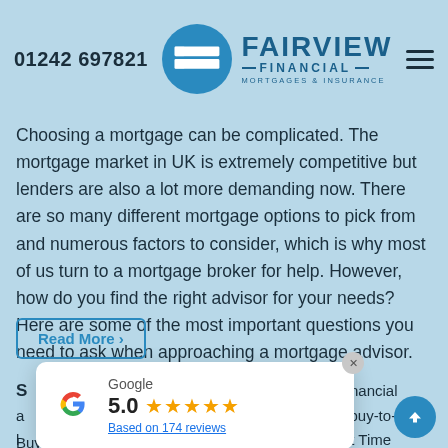01242 697821 — Fairview Financial Mortgages & Insurance
Choosing a mortgage can be complicated. The mortgage market in UK is extremely competitive but lenders are also a lot more demanding now. There are so many different mortgage options to pick from and numerous factors to consider, which is why most of us turn to a mortgage broker for help. However, how do you find the right advisor for your needs? Here are some of the most important questions you need to ask when approaching a mortgage advisor.
Read More >
mortgage advisor, financial advisor, pension options, remortgages, buy-to-let, Home Movers, First Time Buyers, Remortgages
[Figure (screenshot): Google review popup showing 5.0 rating based on 174 reviews with 5 gold stars]